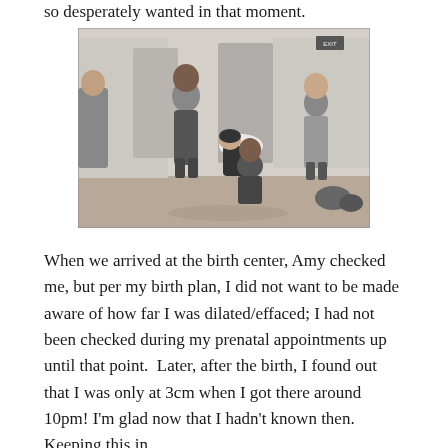so desperately wanted in that moment.
[Figure (photo): Black and white photo of several people in a room. A person is bent forward over a chair or support, while others stand around assisting. Appears to be a birth class or labor support demonstration setting.]
When we arrived at the birth center, Amy checked me, but per my birth plan, I did not want to be made aware of how far I was dilated/effaced; I had not been checked during my prenatal appointments up until that point.  Later, after the birth, I found out that I was only at 3cm when I got there around 10pm! I'm glad now that I hadn't known then. Keeping this in